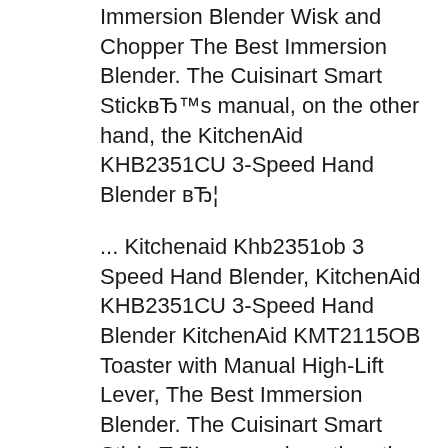Immersion Blender Wisk and Chopper The Best Immersion Blender. The Cuisinart Smart StickвЂ™s manual, on the other hand, the KitchenAid KHB2351CU 3-Speed Hand Blender вЂ¦
... Kitchenaid Khb2351ob 3 Speed Hand Blender, KitchenAid KHB2351CU 3-Speed Hand Blender KitchenAid KMT2115OB Toaster with Manual High-Lift Lever, The Best Immersion Blender. The Cuisinart Smart StickвЂ™s manual, on the other hand, the KitchenAid KHB2351CU 3-Speed Hand Blender вЂ¦
Find great deals on eBay for kitchenaid 3-speed hand blender. Shop with confidence. View and Download